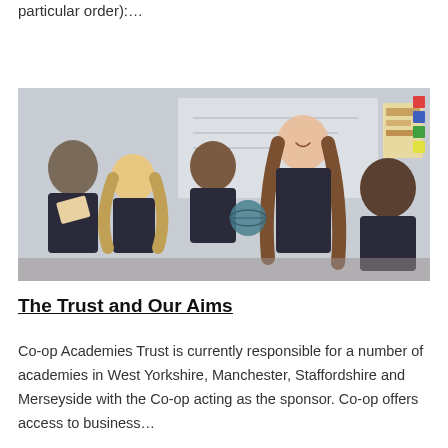particular order):…
[Figure (photo): A teacher leaning over to assist a group of secondary school students in a classroom setting. Students wearing school uniforms are looking at an object, with a whiteboard visible in the background.]
The Trust and Our Aims
Co-op Academies Trust is currently responsible for a number of academies in West Yorkshire, Manchester, Staffordshire and Merseyside with the Co-op acting as the sponsor. Co-op offers access to business…